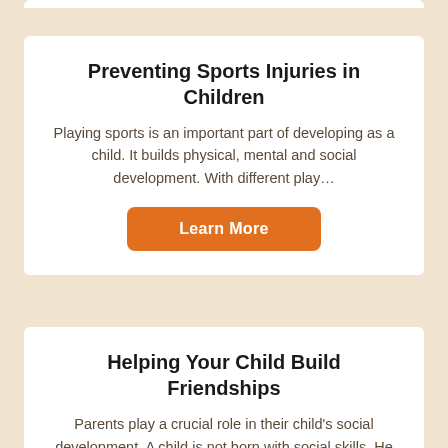Preventing Sports Injuries in Children
Playing sports is an important part of developing as a child. It builds physical, mental and social development. With different play…
Learn More
Helping Your Child Build Friendships
Parents play a crucial role in their child's social development. A child is not born with social skills. He needs parents…
Learn More